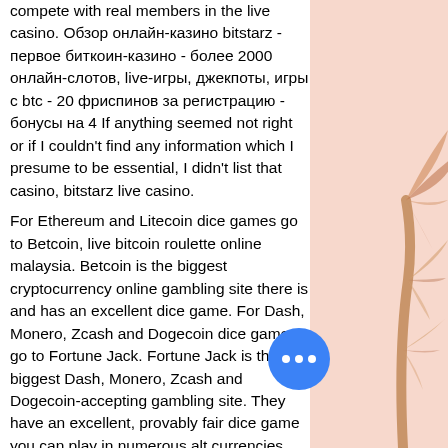compete with real members in the live casino. Обзор онлайн-казино bitstarz - первое биткоин-казино - более 2000 онлайн-слотов, live-игры, джекпоты, игры с btc - 20 фриспинов за регистрацию - бонусы на 4 If anything seemed not right or if I couldn't find any information which I presume to be essential, I didn't list that casino, bitstarz live casino.
For Ethereum and Litecoin dice games go to Betcoin, live bitcoin roulette online malaysia. Betcoin is the biggest cryptocurrency online gambling site there is and has an excellent dice game. For Dash, Monero, Zcash and Dogecoin dice game go to Fortune Jack. Fortune Jack is the biggest Dash, Monero, Zcash and Dogecoin-accepting gambling site. They have an excellent, provably fair dice game you can play in numerous alt currencies.
Renowned bitcoin casino, bitstarz, has taken a step further to ensure versatility for live
[Figure (illustration): Decorative pink/peach background with palm tree fronds on the right side of the page]